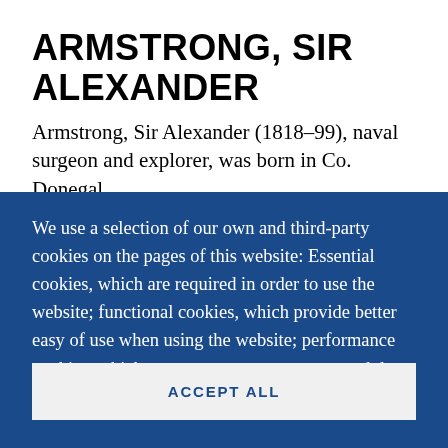ARMSTRONG, SIR ALEXANDER
Armstrong, Sir Alexander (1818–99), naval surgeon and explorer, was born in Co. Donegal
We use a selection of our own and third-party cookies on the pages of this website: Essential cookies, which are required in order to use the website; functional cookies, which provide better easy of use when using the website; performance cookies, which we use to generate aggregated data on website use and statistics; and marketing cookies, which are used to display relevant content and advertising. If you choose "ACCEPT ALL", you consent to the use of all cookies. You can accept and
ACCEPT ALL